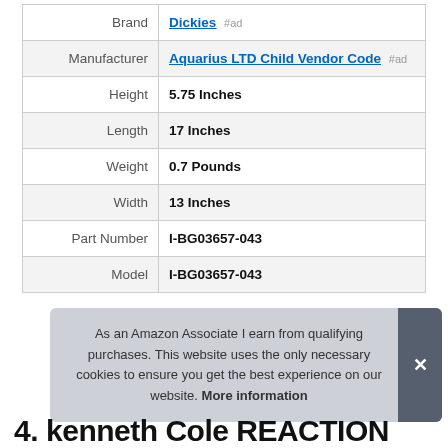|  |  |
| --- | --- |
| Brand | Dickies #ad |
| Manufacturer | Aquarius LTD Child Vendor Code #ad |
| Height | 5.75 Inches |
| Length | 17 Inches |
| Weight | 0.7 Pounds |
| Width | 13 Inches |
| Part Number | I-BG03657-043 |
| Model | I-BG03657-043 |
As an Amazon Associate I earn from qualifying purchases. This website uses the only necessary cookies to ensure you get the best experience on our website. More information
4. Kenneth Cole REACTION